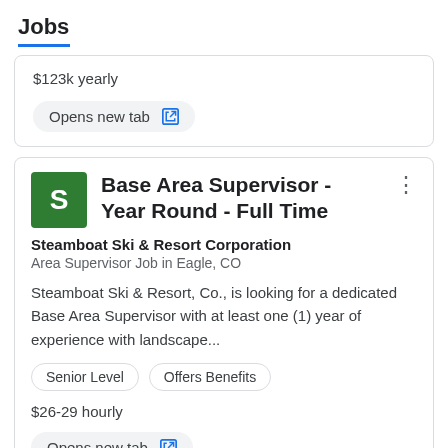Jobs
$123k yearly
Opens new tab
Base Area Supervisor - Year Round - Full Time
Steamboat Ski & Resort Corporation
Area Supervisor Job in Eagle, CO
Steamboat Ski & Resort, Co., is looking for a dedicated Base Area Supervisor with at least one (1) year of experience with landscape...
Senior Level
Offers Benefits
$26-29 hourly
Opens new tab